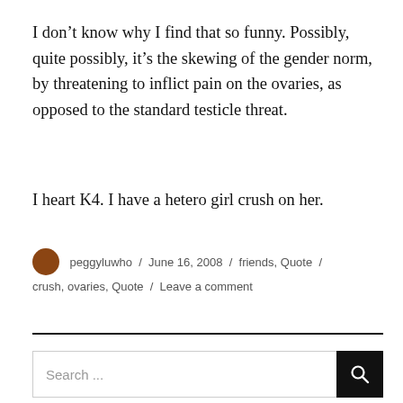I don’t know why I find that so funny. Possibly, quite possibly, it’s the skewing of the gender norm, by threatening to inflict pain on the ovaries, as opposed to the standard testicle threat.
I heart K4. I have a hetero girl crush on her.
peggyluwho / June 16, 2008 / friends, Quote / crush, ovaries, Quote / Leave a comment